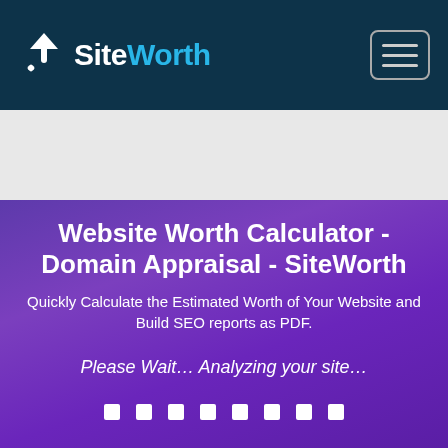[Figure (logo): SiteWorth logo with upward arrow icon and brand name in white and blue on dark teal header]
Website Worth Calculator - Domain Appraisal - SiteWorth
Quickly Calculate the Estimated Worth of Your Website and Build SEO reports as PDF.
Please Wait… Analyzing your site…